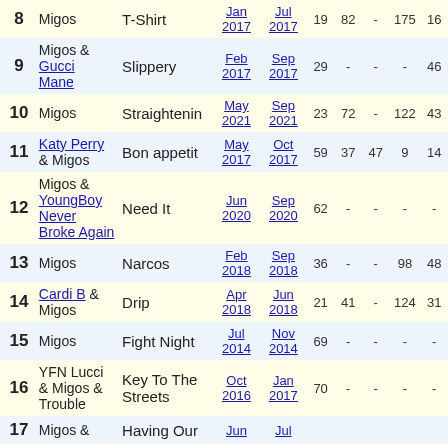| # | Artist | Song | From | To | C1 | C2 | C3 | C4 | C5 |
| --- | --- | --- | --- | --- | --- | --- | --- | --- | --- |
| 8 | Migos | T-Shirt | Jan 2017 | Jul 2017 | 19 | 82 | - | 175 | 16 |
| 9 | Migos & Gucci Mane | Slippery | Feb 2017 | Sep 2017 | 29 | - | - | - | 46 |
| 10 | Migos | Straightenin | May 2021 | Sep 2021 | 23 | 72 | - | 122 | 43 |
| 11 | Katy Perry & Migos | Bon appetit | May 2017 | Oct 2017 | 59 | 37 | 47 | 9 | 14 |
| 12 | Migos & YoungBoy Never Broke Again | Need It | Jun 2020 | Sep 2020 | 62 | - | - | - | - |
| 13 | Migos | Narcos | Feb 2018 | Sep 2018 | 36 | - | - | 98 | 48 |
| 14 | Cardi B & Migos | Drip | Apr 2018 | Jun 2018 | 21 | 41 | - | 124 | 31 |
| 15 | Migos | Fight Night | Jul 2014 | Nov 2014 | 69 | - | - | - | - |
| 16 | YFN Lucci & Migos & Trouble | Key To The Streets | Oct 2016 | Jan 2017 | 70 | - | - | - | - |
| 17 | Migos & | Having Our | Jun | Jul |  |  |  |  |  |